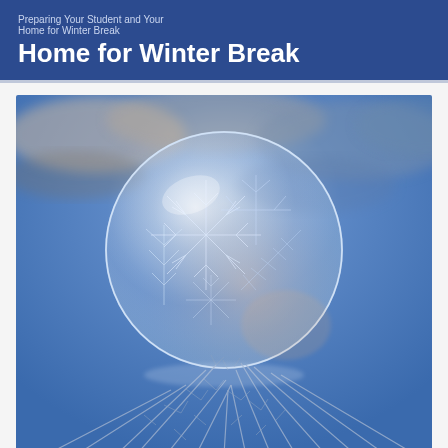Home for Winter Break
[Figure (photo): Close-up photograph of a frozen soap bubble resting on frost-covered grass or plant stems, with intricate ice crystal patterns visible on the surface of the bubble. The background is a soft blue bokeh with blurred winter scenery.]